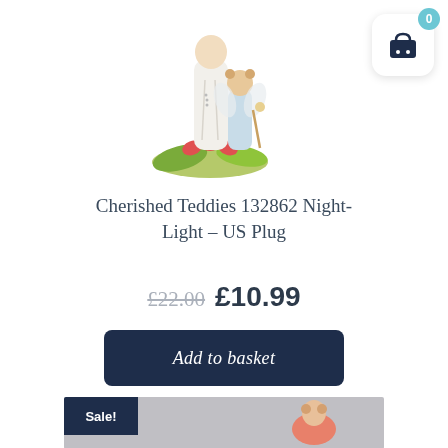[Figure (photo): Cherished Teddies porcelain night-light figurine — two teddy bear angels in white and blue robes standing on a green and red floral base]
[Figure (illustration): Shopping cart icon with a '0' badge on a white rounded square button in the top-right corner]
Cherished Teddies 132862 Night-Light – US Plug
£22.00 £10.99
Add to basket
[Figure (photo): Partial view of a second product with a 'Sale!' badge — a pink/coral figurine on a grey background]